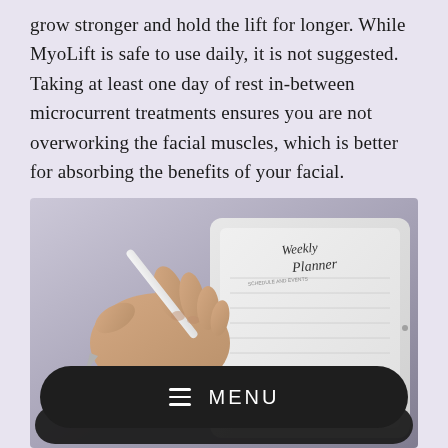grow stronger and hold the lift for longer. While MyoLift is safe to use daily, it is not suggested. Taking at least one day of rest in-between microcurrent treatments ensures you are not overworking the facial muscles, which is better for absorbing the benefits of your facial.
[Figure (photo): A hand holding a white stylus/Apple Pencil writing on a tablet screen displaying a Weekly Planner with 'SCHEDULE AND EVENTS' text visible in cursive handwriting.]